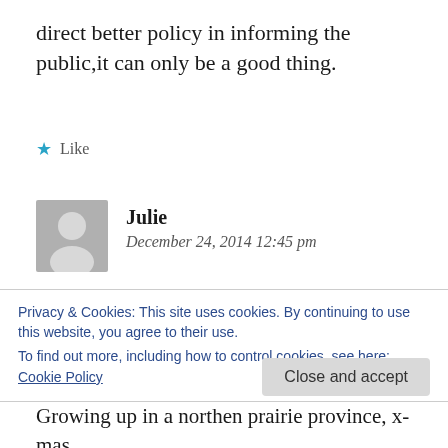direct better policy in informing the public,it can only be a good thing.
★ Like
Julie
December 24, 2014 12:45 pm
Many of us have grown up in, the good decent democratic Canada. So, this Canada and this BC Province is very hard to take for me. Six
Privacy & Cookies: This site uses cookies. By continuing to use this website, you agree to their use.
To find out more, including how to control cookies, see here: Cookie Policy
Close and accept
Growing up in a northen prairie province, x-mas